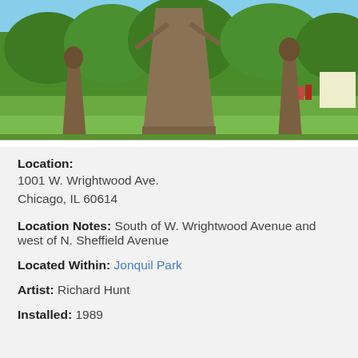[Figure (photo): Outdoor photograph of large abstract sculptures in a park. A tall central stone or concrete monolithic sculpture is flanked by two smaller figurative sculptures. Green trees and grass are visible in the background along with a playground and blue sky.]
Location: 1001 W. Wrightwood Ave. Chicago, IL 60614
Location Notes: South of W. Wrightwood Avenue and west of N. Sheffield Avenue
Located Within: Jonquil Park
Artist: Richard Hunt
Installed: 1989